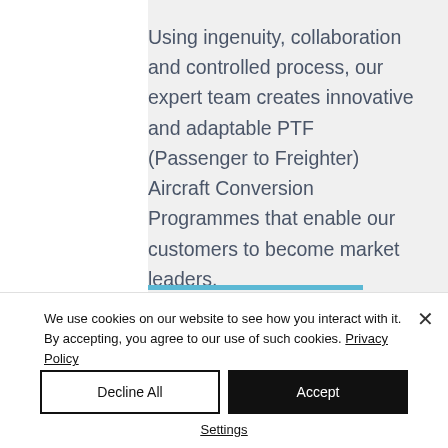Using ingenuity, collaboration and controlled process, our expert team creates innovative and adaptable PTF (Passenger to Freighter) Aircraft Conversion Programmes that enable our customers to become market leaders.
We use cookies on our website to see how you interact with it. By accepting, you agree to our use of such cookies. Privacy Policy
Decline All
Accept
Settings